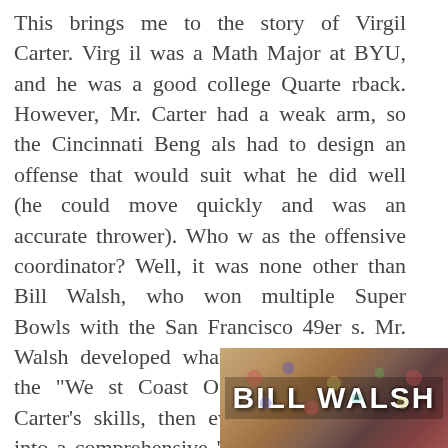This brings me to the story of Virgil Carter. Virgil was a Math Major at BYU, and he was a good college Quarterback. However, Mr. Carter had a weak arm, so the Cincinnati Bengals had to design an offense that would suit what he did well (he could move quickly and was an accurate thrower). Who was the offensive coordinator? Well, it was none other than Bill Walsh, who won multiple Super Bowls with the San Francisco 49ers. Mr. Walsh developed what became known as the "West Coast Offense" to suit Mr. Carter's skills, then evolved this into a comprehensive "system" for running a football organization. Mr. Walsh wrote a book with a limited number of copies on how to run a football organization. I bought one of the copies for $$$ ... if you carefully look at the bookshelf of any NFL team, you might just see one of the copies.
[Figure (photo): Book cover or image showing 'BILL WALSH' text in large white letters over a crowd/confetti background]